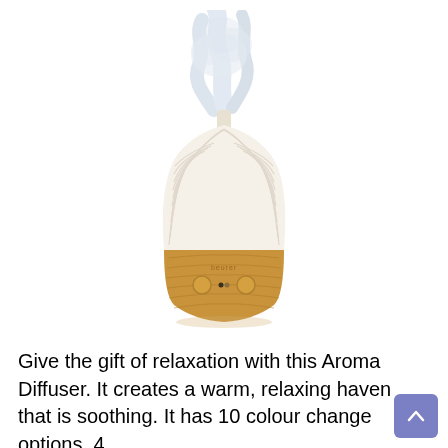[Figure (photo): An aroma diffuser with a ribbed white upper body and a wood-grain lower base. The device has two circular buttons on the front. White/blue mist or steam rises from the top nozzle.]
Give the gift of relaxation with this Aroma Diffuser. It creates a warm, relaxing haven that is soothing. It has 10 colour change options, 4